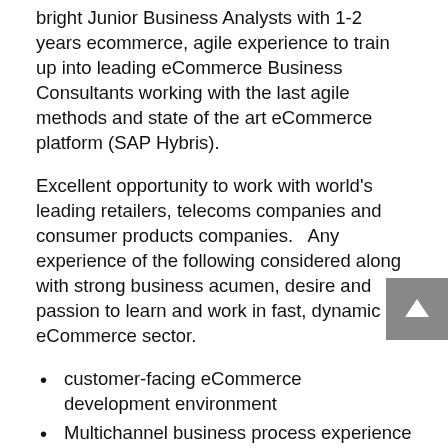bright Junior Business Analysts with 1-2 years ecommerce, agile experience to train up into leading eCommerce Business Consultants working with the last agile methods and state of the art eCommerce platform (SAP Hybris).
Excellent opportunity to work with world's leading retailers, telecoms companies and consumer products companies.   Any experience of the following considered along with strong business acumen, desire and passion to learn and work in fast, dynamic eCommerce sector.
customer-facing eCommerce development environment
Multichannel business process experience with global brand eCommerce retailers
Test Driven Development (TDD), Behaviour Driven Development (BDD), Fitnesse, Cucumber, RSpec etc